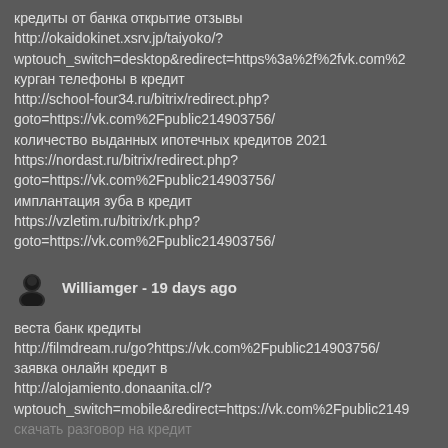кредиты от банка открытие отзывы http://okaidokinet.xsrv.jp/taiyoko/?wptouch_switch=desktop&redirect=https%3a%2f%2fvk.com%2 курган телефоны в кредит http://school-four34.ru/bitrix/redirect.php?goto=https://vk.com%2Fpublic214903756/ количество выданных ипотечных кредитов 2021 https://nordast.ru/bitrix/redirect.php?goto=https://vk.com%2Fpublic214903756/ имплантация зуба в кредит https://vzletim.ru/bitrix/rk.php?goto=https://vk.com%2Fpublic214903756/
Williamger - 19 days ago
веста банк кредиты http://filmdream.ru/go?https://vk.com%2Fpublic214903756/ заявка онлайн кредит в http://alojamiento.donaanita.cl/?wptouch_switch=mobile&redirect=https://vk.com%2Fpublic2149 скачать разговор на кредит